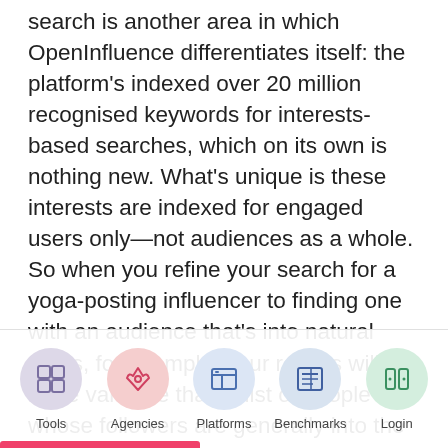search is another area in which OpenInfluence differentiates itself: the platform's indexed over 20 million recognised keywords for interests-based searches, which on its own is nothing new. What's unique is these interests are indexed for engaged users only—not audiences as a whole. So when you refine your search for a yoga-posting influencer to finding one with an audience that's into natural foods, for example, your results will be more valuable than a list of people whose followers are generally into the topic. Further, OpenInfluencer chose audiences to top interests.
[Figure (other): Navigation bar with five icons: Tools (grid icon, purple circle), Agencies (rocket icon, pink circle), Platforms (browser icon, blue circle), Benchmarks (chart/newspaper icon, blue circle), Login (door icon, green circle)]